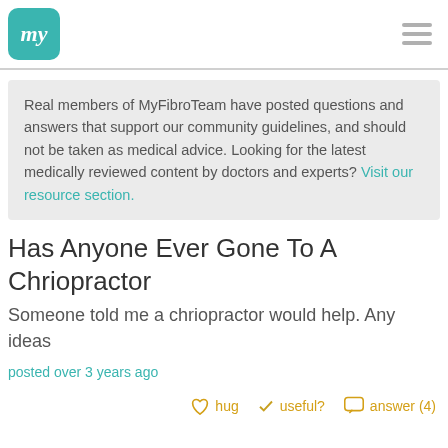my
Real members of MyFibroTeam have posted questions and answers that support our community guidelines, and should not be taken as medical advice. Looking for the latest medically reviewed content by doctors and experts? Visit our resource section.
Has Anyone Ever Gone To A Chriopractor
Someone told me a chriopractor would help. Any ideas
posted over 3 years ago